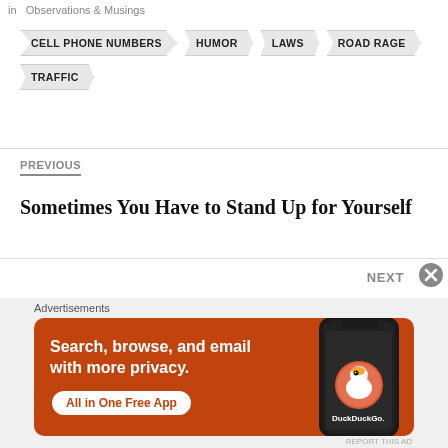in  Observations & Musings
CELL PHONE NUMBERS
HUMOR
LAWS
ROAD RAGE
TRAFFIC
PREVIOUS
Sometimes You Have to Stand Up for Yourself
NEXT
Advertisements
[Figure (photo): DuckDuckGo advertisement: Search, browse, and email with more privacy. All in One Free App. Shows a phone with DuckDuckGo app.]